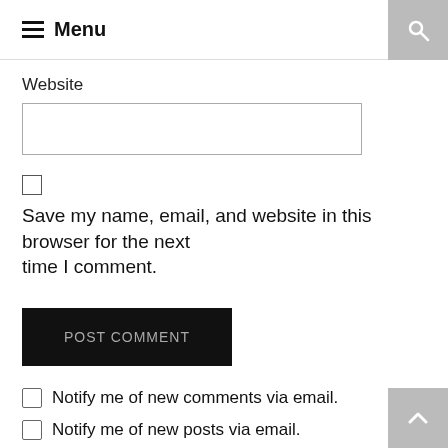≡ Menu
Website
Save my name, email, and website in this browser for the next time I comment.
POST COMMENT
Notify me of new comments via email.
Notify me of new posts via email.